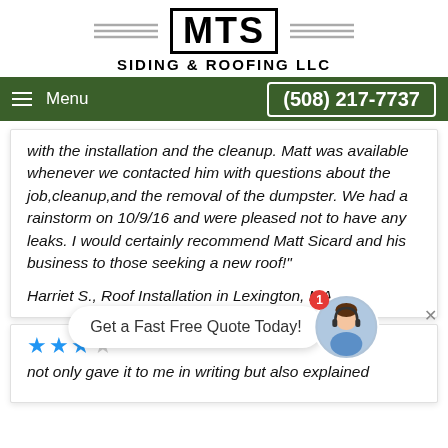[Figure (logo): MTS Siding & Roofing LLC logo with wing decorations on either side of the MTS box, and SIDING & ROOFING LLC text below]
Menu  (508) 217-7737
with the installation and the cleanup. Matt was available whenever we contacted him with questions about the job,cleanup,and the removal of the dumpster. We had a rainstorm on 10/9/16 and were pleased not to have any leaks. I would certainly recommend Matt Sicard and his business to those seeking a new roof!"
Harriet S., Roof Installation in Lexington, MA
[Figure (screenshot): Chat widget with 'Get a Fast Free Quote Today!' bubble and avatar with red badge showing 1]
not only gave it to me in writing but also explained